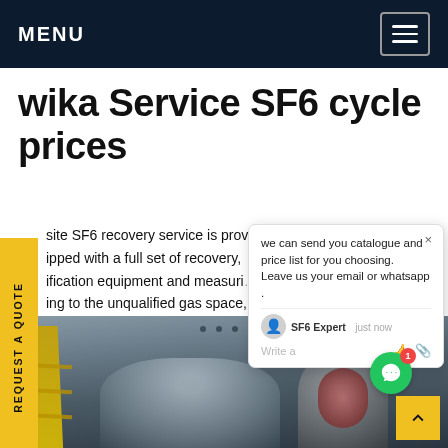MENU
wika Service SF6 cycle prices
site SF6 recovery service is provi...ller ipped with a full set of recovery, ification equipment and measuri... n ing to the unqualified gas space, on- shutdown and maintenance r...ering unqualified SF6 gas recovery an... 1, then returning to the gas room.Get price
[Figure (screenshot): Chat popup overlay: 'we can send you catalogue and price list for you choosing. Leave us your email or whatsapp.' with SF6 Expert avatar and Write a message field.]
[Figure (photo): Industrial SF6 equipment photo showing machinery interior with yellow ladder and mechanical components in dark industrial setting.]